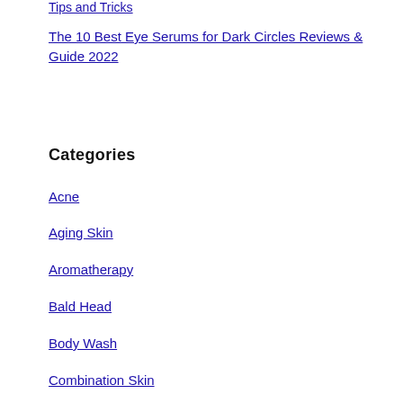Tips and Tricks
The 10 Best Eye Serums for Dark Circles Reviews & Guide 2022
Categories
Acne
Aging Skin
Aromatherapy
Bald Head
Body Wash
Combination Skin